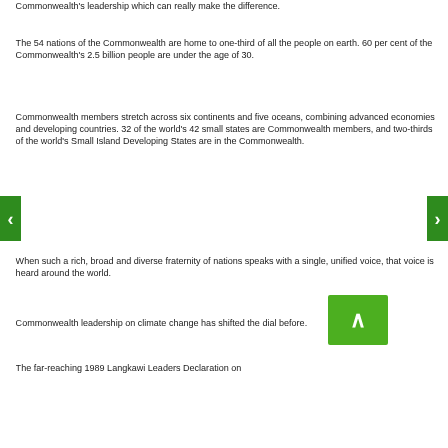Commonwealth's leadership which can really make the difference.
The 54 nations of the Commonwealth are home to one-third of all the people on earth. 60 per cent of the Commonwealth's 2.5 billion people are under the age of 30.
Commonwealth members stretch across six continents and five oceans, combining advanced economies and developing countries. 32 of the world's 42 small states are Commonwealth members, and two-thirds of the world's Small Island Developing States are in the Commonwealth.
When such a rich, broad and diverse fraternity of nations speaks with a single, unified voice, that voice is heard around the world.
Commonwealth leadership on climate change has shifted the dial before.
The far-reaching 1989 Langkawi Leaders Declaration on